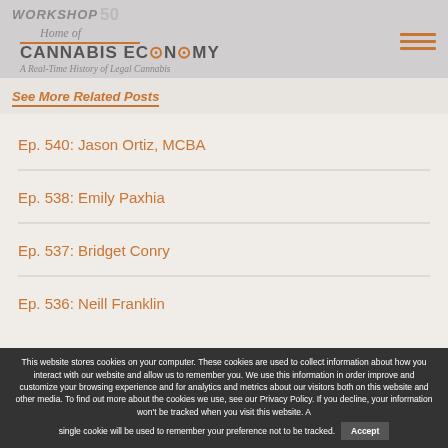Workshop 50 – Home of Cannabis Economy – A Real-Time History of Legal Cannabis
See More Related Posts
Ep. 540: Jason Ortiz, MCBA
Ep. 538: Emily Paxhia
Ep. 537: Bridget Conry
Ep. 536: Neill Franklin
This website stores cookies on your computer. These cookies are used to collect information about how you interact with our website and allow us to remember you. We use this information in order improve and customize your browsing experience and for analytics and metrics about our visitors both on this website and other media. To find out more about the cookies we use, see our Privacy Policy. If you decline, your information won't be tracked when you visit this website. A single cookie will be used to remember your preference not to be tracked.